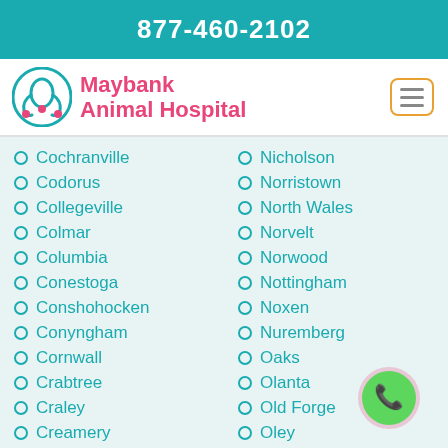877-460-2102
[Figure (logo): Maybank Animal Hospital logo with teal stethoscope/pet icon and pink text]
Cochranville
Codorus
Collegeville
Colmar
Columbia
Conestoga
Conshohocken
Conyngham
Cornwall
Crabtree
Craley
Creamery
Nicholson
Norristown
North Wales
Norvelt
Norwood
Nottingham
Noxen
Nuremberg
Oaks
Olanta
Old Forge
Oley